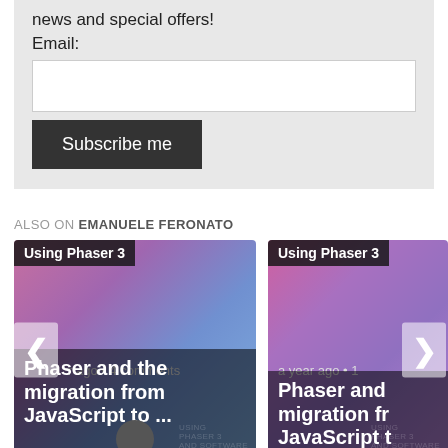news and special offers!
Email:
Subscribe me
ALSO ON EMANUELE FERONATO
[Figure (screenshot): Card thumbnail showing 'Using Phaser 3' tag, meta 'a year ago • 4 comments', and title 'Phaser and the migration from JavaScript to ...' with colorful abstract background]
[Figure (screenshot): Second card thumbnail showing 'Using Phaser 3' tag, meta 'a year ago • 1', and title 'Phaser and migration fr JavaScript t' with colorful abstract background, partially cut off]